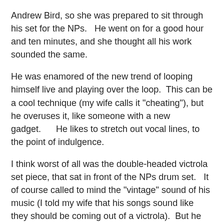Andrew Bird, so she was prepared to sit through his set for the NPs.   He went on for a good hour and ten minutes, and she thought all his work sounded the same.
He was enamored of the new trend of looping himself live and playing over the loop.  This can be a cool technique (my wife calls it "cheating"), but he overuses it, like someone with a new gadget.     He likes to stretch out vocal lines, to the point of indulgence.
I think worst of all was the double-headed victrola set piece, that sat in front of the NPs drum set.   It of course called to mind the "vintage" sound of his music (I told my wife that his songs sound like they should be coming out of a victrola).  But he has a switch on a pedal that made the two victrola heads rotate -- which he had happen several times during his set to diminishing returns, as if there were many returns to be had to begin with.  It started off lame and ended up silly.
There was another set-piece victrola, the mouth facing the audience, that didn't do anything other than sit atop a